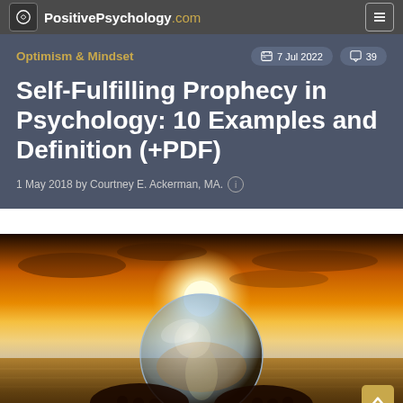PositivePsychology.com
Optimism & Mindset
7 Jul 2022   39
Self-Fulfilling Prophecy in Psychology: 10 Examples and Definition (+PDF)
1 May 2018 by Courtney E. Ackerman, MA.
[Figure (photo): A person holding a crystal ball reflecting a sunset scene on a beach with orange and golden sky]